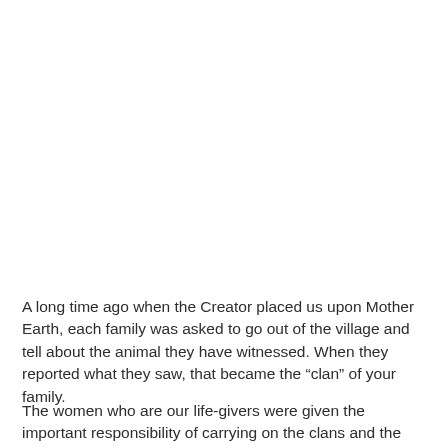A long time ago when the Creator placed us upon Mother Earth, each family was asked to go out of the village and tell about the animal they have witnessed. When they reported what they saw, that became the “clan” of your family.
The women who are our life-givers were given the important responsibility of carrying on the clans and the citizenship of the